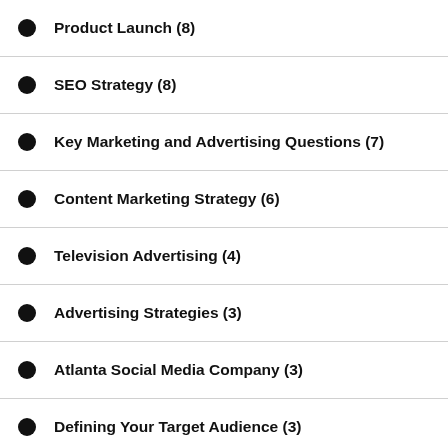Product Launch (8)
SEO Strategy (8)
Key Marketing and Advertising Questions (7)
Content Marketing Strategy (6)
Television Advertising (4)
Advertising Strategies (3)
Atlanta Social Media Company (3)
Defining Your Target Audience (3)
Inbound Marketing in Atlanta (3)
Radio Advertising Atlanta (3)
Search Engine Optimization (3)